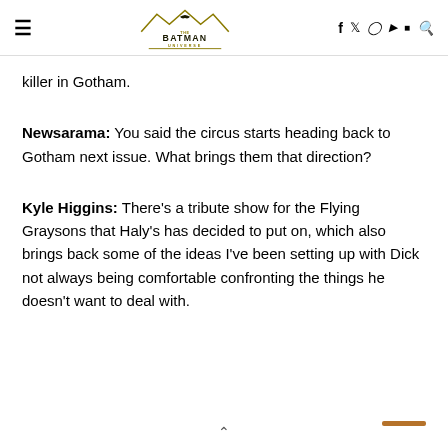The Batman Universe — navigation header with hamburger menu, logo, social icons (f, twitter, instagram, youtube, discord) and search
killer in Gotham.
Newsarama: You said the circus starts heading back to Gotham next issue. What brings them that direction?
Kyle Higgins: There's a tribute show for the Flying Graysons that Haly's has decided to put on, which also brings back some of the ideas I've been setting up with Dick not always being comfortable confronting the things he doesn't want to deal with.